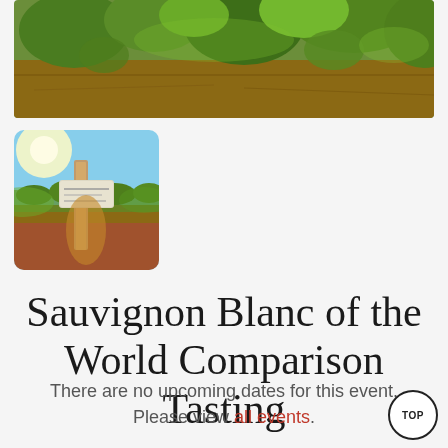[Figure (photo): Close-up photo of vineyard leaves with dry soil and green grapevine leaves, warm sunlit scene]
[Figure (photo): Small photo of a vineyard path with a wooden post/sign, green vines, red soil, and bright sky]
Sauvignon Blanc of the World Comparison Tasting
There are no upcoming dates for this event. Please view all events.